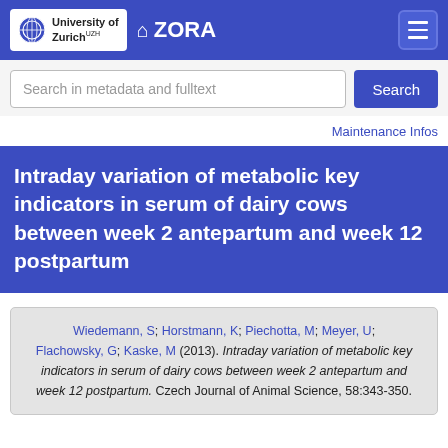University of Zurich — ZORA
Intraday variation of metabolic key indicators in serum of dairy cows between week 2 antepartum and week 12 postpartum
Wiedemann, S; Horstmann, K; Piechotta, M; Meyer, U; Flachowsky, G; Kaske, M (2013). Intraday variation of metabolic key indicators in serum of dairy cows between week 2 antepartum and week 12 postpartum. Czech Journal of Animal Science, 58:343-350.